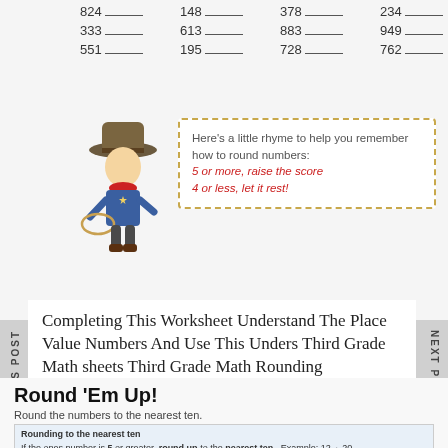| 824 ___ | 148 ___ | 378 ___ | 234 ___ |
| 333 ___ | 613 ___ | 883 ___ | 949 ___ |
| 551 ___ | 195 ___ | 728 ___ | 762 ___ |
[Figure (illustration): Cartoon cowboy character with lasso]
Here's a little rhyme to help you remember how to round numbers:
5 or more, raise the score
4 or less, let it rest!
PREVIOUS POST
NEXT POST
Completing This Worksheet Understand The Place Value Numbers And Use This Unders Third Grade Math sheets Third Grade Math Rounding Worksheets
Round 'Em Up!
Round the numbers to the nearest ten.
Rounding to the nearest ten
If the ones number is 5 or greater, round up to the nearest ten. Example: 12→ 20
If the ones number is 4 or less, round down to the nearest ten. Example: 12→ 10
| 56  60 | 31 ___ | 18 ___ | 43 ___ |